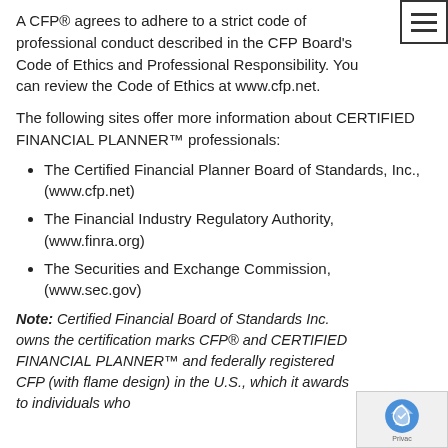A CFP® agrees to adhere to a strict code of professional conduct described in the CFP Board's Code of Ethics and Professional Responsibility. You can review the Code of Ethics at www.cfp.net.
The following sites offer more information about CERTIFIED FINANCIAL PLANNER™ professionals:
The Certified Financial Planner Board of Standards, Inc., (www.cfp.net)
The Financial Industry Regulatory Authority, (www.finra.org)
The Securities and Exchange Commission, (www.sec.gov)
Note: Certified Financial Board of Standards Inc. owns the certification marks CFP® and CERTIFIED FINANCIAL PLANNER™ and federally registered CFP (with flame design) in the U.S., which it awards to individuals who